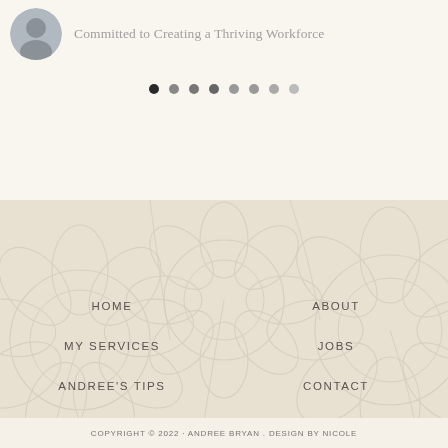Committed to Creating a Thriving Workforce
[Figure (other): Pagination dots row - 8 dots ranging from filled black to lighter gray]
[Figure (illustration): Decorative floral/botanical line art background in beige tones covering the footer section]
HOME
ABOUT
MY SERVICES
JOBS
ANDREE'S TIPS
CONTACT
COPYRIGHT © 2022 · ANDREE BRYAN . DESIGN BY NICOLE